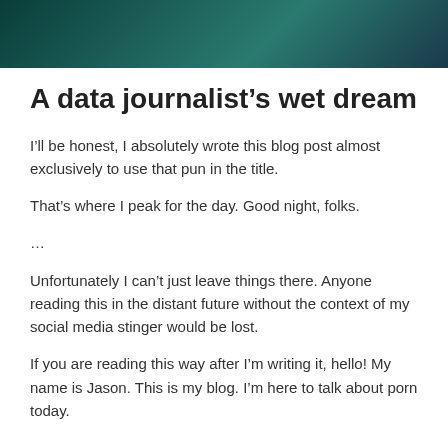[Figure (illustration): Dark teal/green gradient banner image at the top of the page]
A data journalist’s wet dream
I’ll be honest, I absolutely wrote this blog post almost exclusively to use that pun in the title.
That’s where I peak for the day. Good night, folks.
…
Unfortunately I can’t just leave things there. Anyone reading this in the distant future without the context of my social media stinger would be lost.
If you are reading this way after I’m writing it, hello! My name is Jason. This is my blog. I’m here to talk about porn today.